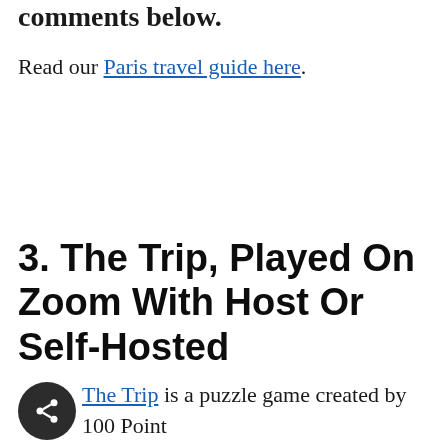comments below.
Read our Paris travel guide here.
3. The Trip, Played On Zoom With Host Or Self-Hosted
The Trip is a puzzle game created by 100 Point Studio